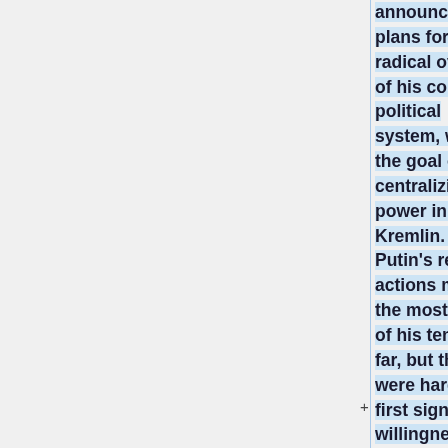announced plans for a radical overhaul of his country's political system, with the goal of centralizing power in the Kremlin. [...] Putin's recent actions may be the most drastic of his tenure so far, but they were hardly the first signs of his willingness to deploy the power of the Russian state for his own purposes. A